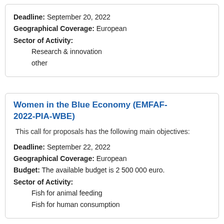Deadline: September 20, 2022
Geographical Coverage: European
Sector of Activity:
Research & innovation
other
Women in the Blue Economy (EMFAF-2022-PIA-WBE)
This call for proposals has the following main objectives:
Deadline: September 22, 2022
Geographical Coverage: European
Budget: The available budget is 2 500 000 euro.
Sector of Activity:
Fish for animal feeding
Fish for human consumption